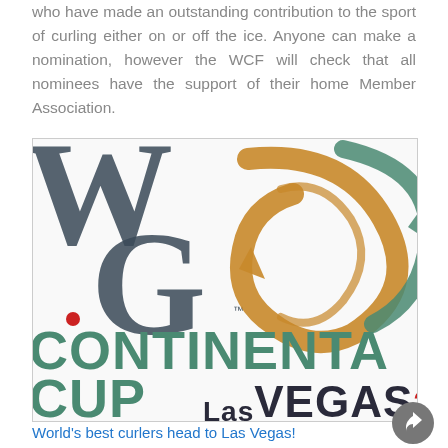Committee are looking for nomination for individuals who have made an outstanding contribution to the sport of curling either on or off the ice. Anyone can make a nomination, however the WCF will check that all nominees have the support of their home Member Association.
[Figure (logo): World Curling Federation Continental Cup Las Vegas 2014 logo — shows WCF letters in dark slate, a curling stone graphic in gold/teal, text CONTINENTAL CUP in teal, LAS VEGAS 2014 in dark/red.]
World's best curlers head to Las Vegas!